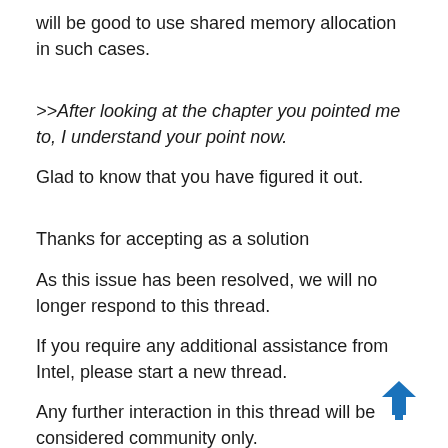will be good to use shared memory allocation in such cases.
>>After looking at the chapter you pointed me to, I understand your point now.
Glad to know that you have figured it out.
Thanks for accepting as a solution
As this issue has been resolved, we will no longer respond to this thread.
If you require any additional assistance from Intel, please start a new thread.
Any further interaction in this thread will be considered community only.
Thanks & Regards
Noorjahan